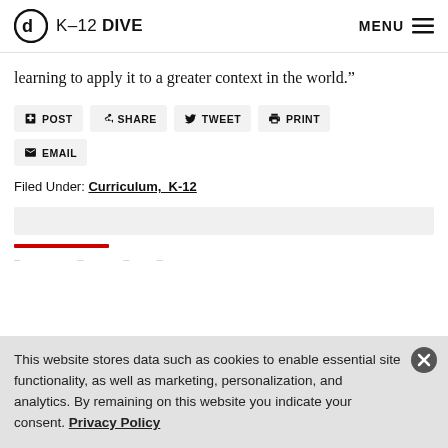K-12 DIVE   MENU
learning to apply it to a greater context in the world.”
POST   SHARE   TWEET   PRINT   EMAIL
Filed Under: Curriculum, K-12
This website stores data such as cookies to enable essential site functionality, as well as marketing, personalization, and analytics. By remaining on this website you indicate your consent. Privacy Policy